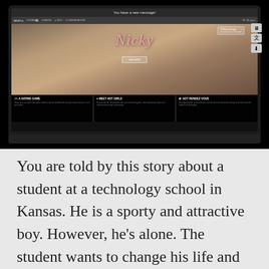[Figure (screenshot): Screenshot of a laptop displaying an adult dating website called 'Nicky xxx' with a notification bar saying 'You have a new message!' The website shows a hero image with feature sections: 'It's a dating game', 'Meet hot girls', and 'Hot rendez-vous'.]
You are told by this story about a student at a technology school in Kansas. He is a sporty and attractive boy. However, he's alone. The student wants to change his life and is